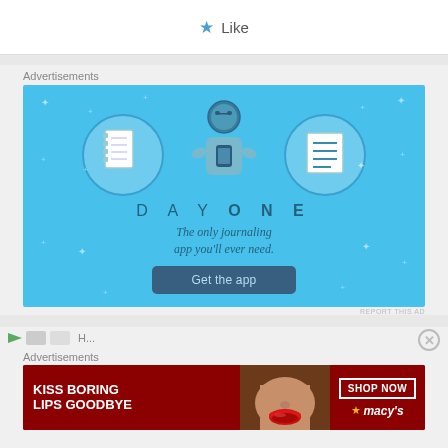Like
Advertisements
[Figure (illustration): Day One journaling app advertisement. Blue background with sparkle dots. Three circular icons: a notebook, a person holding a phone, and a checklist. Text reads: DAY ONE - The only journaling app you'll ever need. Button: Get the app.]
REPORT THIS AD
Advertisements
[Figure (illustration): Macy's advertisement. Dark red background with a woman's face showing red lips. Left side text: KISS BORING LIPS GOODBYE. Right side: SHOP NOW button and Macy's logo with star.]